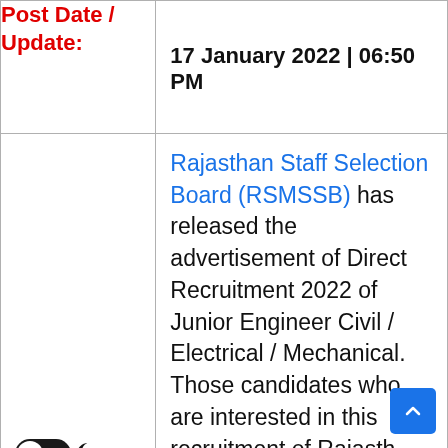| Post Date / Update: | 17 January 2022 | 06:50 PM |
| --- | --- |
| Post Date / Update: | 17 January 2022 | 06:50 PM |
| Information | Rajasthan Staff Selection Board (RSMSSB) has released the advertisement of Direct Recruitment 2022 of Junior Engineer Civil / Electrical / Mechanical. Those candidates who are interested in this recruitment of Rajasthan and fulfill the eligibility |